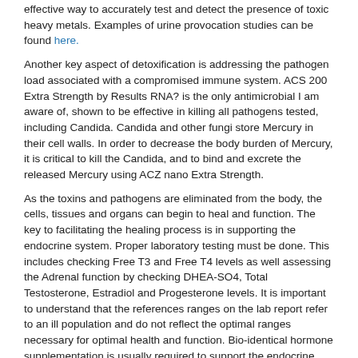effective way to accurately test and detect the presence of toxic heavy metals. Examples of urine provocation studies can be found here.
Another key aspect of detoxification is addressing the pathogen load associated with a compromised immune system. ACS 200 Extra Strength by Results RNA? is the only antimicrobial I am aware of, shown to be effective in killing all pathogens tested, including Candida. Candida and other fungi store Mercury in their cell walls. In order to decrease the body burden of Mercury, it is critical to kill the Candida, and to bind and excrete the released Mercury using ACZ nano Extra Strength.
As the toxins and pathogens are eliminated from the body, the cells, tissues and organs can begin to heal and function. The key to facilitating the healing process is in supporting the endocrine system. Proper laboratory testing must be done. This includes checking Free T3 and Free T4 levels as well assessing the Adrenal function by checking DHEA-SO4, Total Testosterone, Estradiol and Progesterone levels. It is important to understand that the references ranges on the lab report refer to an ill population and do not reflect the optimal ranges necessary for optimal health and function. Bio-identical hormone supplementation is usually required to support the endocrine system as it heals and begins to regain its critical role.
Let's examine pathogenesis. If a person understands that toxins are truly the etiology of most modern diseases and symptoms, it is then possible to trace the biochemical pathway of cause and symptoms.